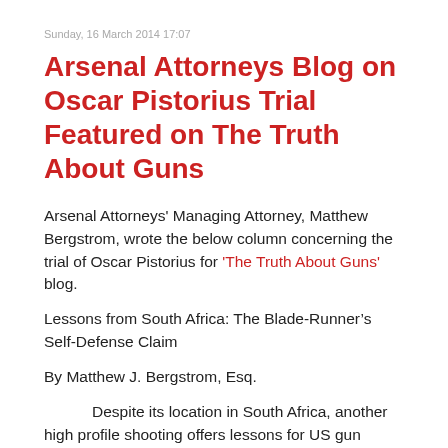Sunday, 16 March 2014 17:07
Arsenal Attorneys Blog on Oscar Pistorius Trial Featured on The Truth About Guns
Arsenal Attorneys' Managing Attorney, Matthew Bergstrom, wrote the below column concerning the trial of Oscar Pistorius for 'The Truth About Guns' blog.
Lessons from South Africa: The Blade-Runner’s Self-Defense Claim
By Matthew J. Bergstrom, Esq.
Despite its location in South Africa, another high profile shooting offers lessons for US gun owners. International Athlete, Oscar Pistorius, stands accused of murdering his girlfriend on Valentine’s Day 2013, and now we’ve had the